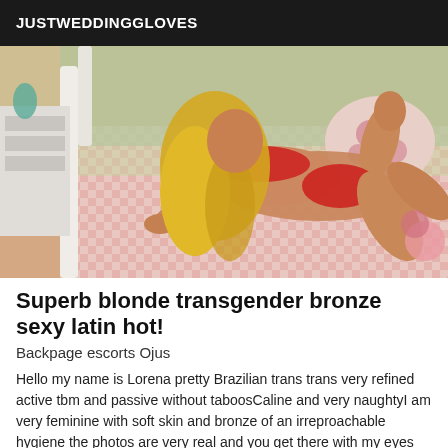JUSTWEDDINGGLOVES
[Figure (photo): A blonde woman in red lingerie posing on a bed with floral bedding]
Superb blonde transgender bronze sexy latin hot!
Backpage escorts Ojus
Hello my name is Lorena pretty Brazilian trans trans very refined active tbm and passive without taboosCaline and very naughtyI am very feminine with soft skin and bronze of an irreproachable hygiene the photos are very real and you get there with my eyes closed for all...